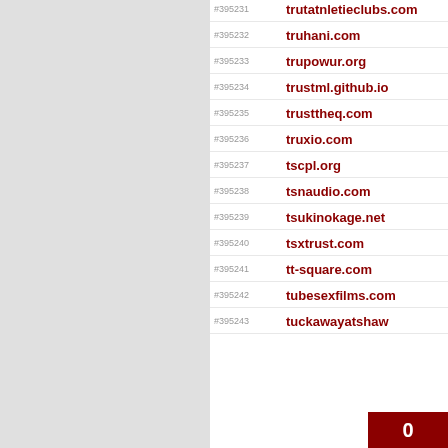#395231 trutatnletieclubs.com
#395232 truhani.com
#395233 trupowur.org
#395234 trustml.github.io
#395235 trusttheq.com
#395236 truxio.com
#395237 tscpl.org
#395238 tsnaudio.com
#395239 tsukinokage.net
#395240 tsxtrust.com
#395241 tt-square.com
#395242 tubesexfilms.com
#395243 tuckawayatshaw